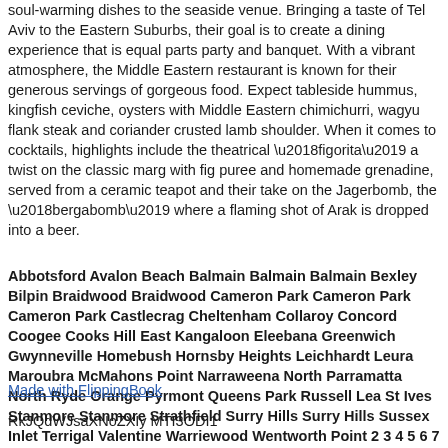soul-warming dishes to the seaside venue. Bringing a taste of Tel Aviv to the Eastern Suburbs, their goal is to create a dining experience that is equal parts party and banquet. With a vibrant atmosphere, the Middle Eastern restaurant is known for their generous servings of gorgeous food. Expect tableside hummus, kingfish ceviche, oysters with Middle Eastern chimichurri, wagyu flank steak and coriander crusted lamb shoulder. When it comes to cocktails, highlights include the theatrical ‘figorita’ a twist on the classic marg with fig puree and homemade grenadine, served from a ceramic teapot and their take on the Jagerbomb, the ‘bergabomb’ where a flaming shot of Arak is dropped into a beer.
Abbotsford Avalon Beach Balmain Balmain Balmain Bexley Bilpin Braidwood Braidwood Cameron Park Cameron Park Cameron Park Castlecrag Cheltenham Collaroy Concord Coogee Cooks Hill East Kangaloon Eleebana Greenwich Gwynneville Homebush Hornsby Heights Leichhardt Leura Maroubra McMahons Point Narraweena North Parramatta North Ryde Orange Pyrmont Queens Park Russell Lea St Ives Stanmore Stanmore Strathfield Surry Hills Surry Hills Sussex Inlet Terrigal Valentine Warriewood Wentworth Point 2 3 4 5 6 7 8 9 10 11 12 13 14 15 16 17 18 19 20 21 22 23 24 25 26 27 28 29 30 31 32 33 34 35 36 37 38 39 40 41 42 43 44 45 46 47 01
Made with FlippingBook
RkJQdWJsaXNoZXIy MTI3ODI1